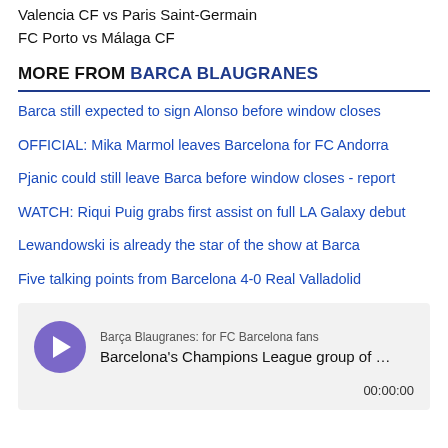Valencia CF vs Paris Saint-Germain
FC Porto vs Málaga CF
MORE FROM BARCA BLAUGRANES
Barca still expected to sign Alonso before window closes
OFFICIAL: Mika Marmol leaves Barcelona for FC Andorra
Pjanic could still leave Barca before window closes - report
WATCH: Riqui Puig grabs first assist on full LA Galaxy debut
Lewandowski is already the star of the show at Barca
Five talking points from Barcelona 4-0 Real Valladolid
[Figure (other): Podcast player widget for Barça Blaugranes: for FC Barcelona fans — episode: Barcelona's Champions League group of ... Duration shown: 00:00:00]